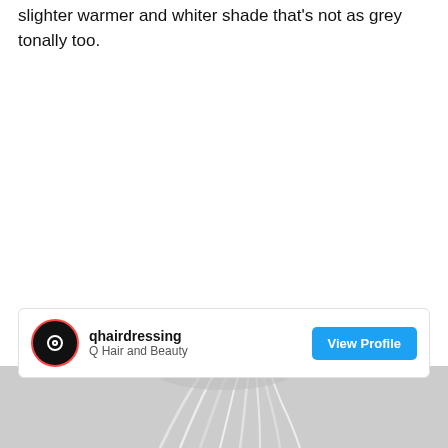slighter warmer and whiter shade that's not as grey tonally too.
[Figure (infographic): Social media profile card for qhairdressing / Q Hair and Beauty with a View Profile button, followed by a photo of platinum/silver blonde hair]
qhairdressing
Q Hair and Beauty